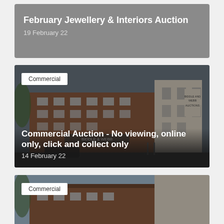February Jewellery & Interiors Auction
19 February 22
Commercial
Commercial Auction - No viewing, online only, click and collect only
14 February 22
Commercial
[Figure (photo): Commercial auction building exterior - brick building with Biddle and Webb auction signage, car park in foreground, blue sky]
[Figure (photo): Partial view of same commercial auction building exterior, cropped at bottom of page]